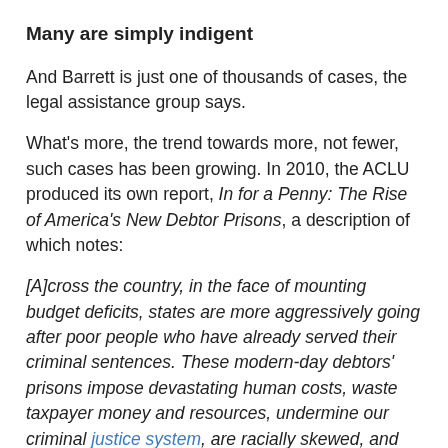Many are simply indigent
And Barrett is just one of thousands of cases, the legal assistance group says.
What's more, the trend towards more, not fewer, such cases has been growing. In 2010, the ACLU produced its own report, In for a Penny: The Rise of America's New Debtor Prisons, a description of which notes:
[A]cross the country, in the face of mounting budget deficits, states are more aggressively going after poor people who have already served their criminal sentences. These modern-day debtors' prisons impose devastating human costs, waste taxpayer money and resources, undermine our criminal justice system, are racially skewed, and create a two-tiered system of justice.